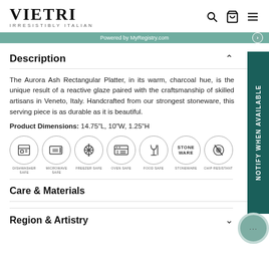VIETRI — IRRESISTIBLY ITALIAN
Powered by MyRegistry.com
Description
The Aurora Ash Rectangular Platter, in its warm, charcoal hue, is the unique result of a reactive glaze paired with the craftsmanship of skilled artisans in Veneto, Italy. Handcrafted from our strongest stoneware, this serving piece is as durable as it is beautiful.
Product Dimensions: 14.75"L, 10"W, 1.25"H
[Figure (infographic): Row of 7 circular icons: Dishwasher Safe, Microwave Safe, Freezer Safe, Oven Safe, Food Safe, Stoneware, Chip Resistant]
Care & Materials
Region & Artistry